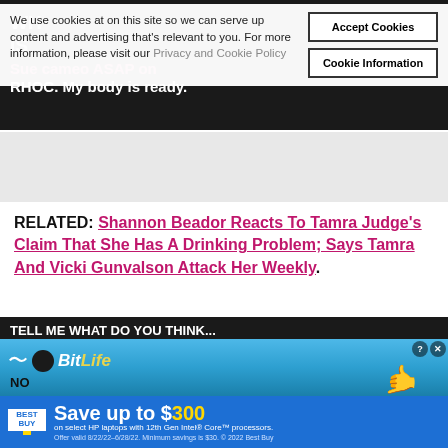We use cookies at on this site so we can serve up content and advertising that's relevant to you. For more information, please visit our Privacy and Cookie Policy
Accept Cookies
Cookie Information
RELATED: Shannon Beador Reacts To Tamra Judge's Claim That She Has A Drinking Problem; Says Tamra And Vicki Gunvalson Attack Her Weekly.
[Figure (screenshot): BitLife mobile game advertisement banner with blue gradient background and animated hand graphic]
[Figure (screenshot): Best Buy advertisement: Save up to $300 on select HP laptops with 12th Gen Intel Core processors. Offer valid 8/22/22-8/28/22. Minimum savings is $30. 2022 Best Buy]